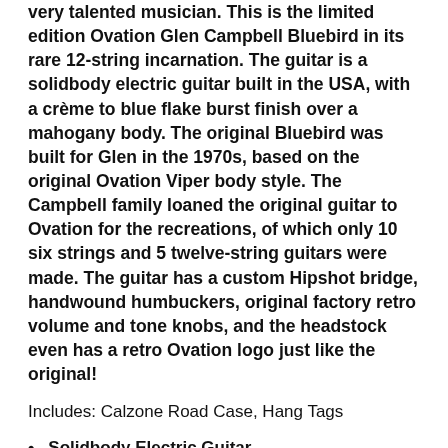very talented musician. This is the limited edition Ovation Glen Campbell Bluebird in its rare 12-string incarnation. The guitar is a solidbody electric guitar built in the USA, with a crème to blue flake burst finish over a mahogany body. The original Bluebird was built for Glen in the 1970s, based on the original Ovation Viper body style. The Campbell family loaned the original guitar to Ovation for the recreations, of which only 10 six strings and 5 twelve-string guitars were made. The guitar has a custom Hipshot bridge, handwound humbuckers, original factory retro volume and tone knobs, and the headstock even has a retro Ovation logo just like the original!
Includes: Calzone Road Case, Hang Tags
Solidbody Electric Guitar
Mahogany Body
1-Piece Mahogany Neck and Ebony Fretboard